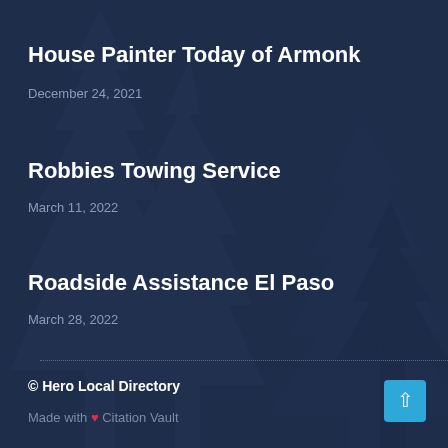House Painter Today of Armonk
December 24, 2021
Robbies Towing Service
March 11, 2022
Roadside Assistance El Paso
March 28, 2022
© Hero Local Directory
Made with ❤ Citation Vault